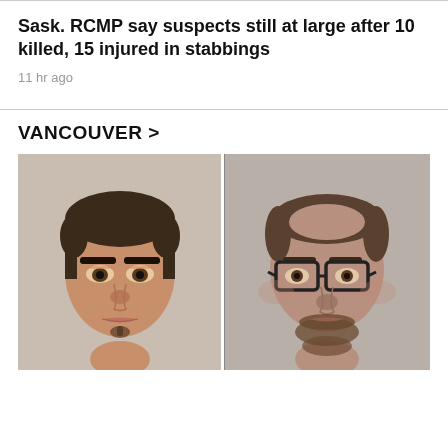Sask. RCMP say suspects still at large after 10 killed, 15 injured in stabbings
11 hr ago
VANCOUVER >
[Figure (photo): Side-by-side mugshots of two male suspects. Left: younger male with close-cropped hair and sparse beard. Right: older male with glasses and fuller beard.]